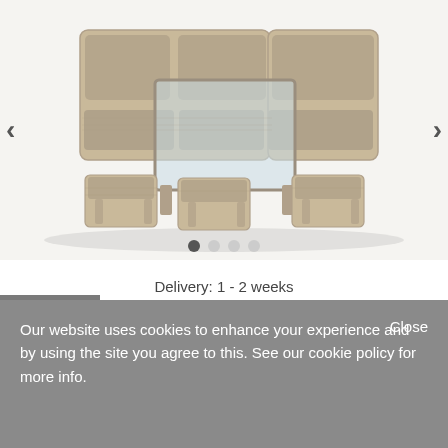[Figure (photo): Outdoor wicker rattan corner sofa dining set with glass-top table and multiple stools/ottomans in natural beige/grey tones]
Delivery: 1 - 2 weeks
£1,759.00 WAS £2,199.00
Add to basket
Our website uses cookies to enhance your experience and by using the site you agree to this. See our cookie policy for more info.
Close